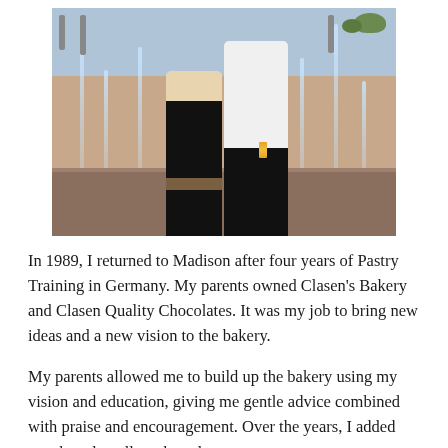[Figure (photo): Two people standing together in front of outdoor fountains. The person on the left wears a beige jacket and black pants. The person on the right wears a white chef's coat with an orange/gold medal around their neck.]
In 1989, I returned to Madison after four years of Pastry Training in Germany. My parents owned Clasen's Bakery and Clasen Quality Chocolates. It was my job to bring new ideas and a new vision to the bakery.
My parents allowed me to build up the bakery using my vision and education, giving me gentle advice combined with praise and encouragement. Over the years, I added new breads, rolls, cakes, desserts,